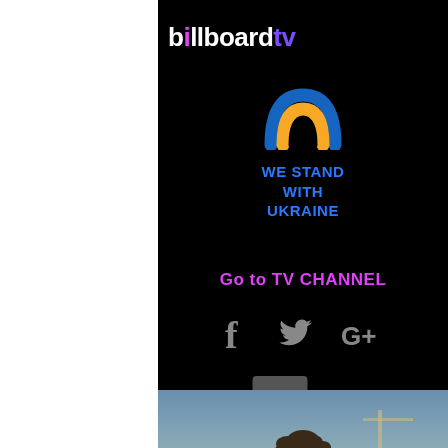billboardtv
[Figure (illustration): Ukraine support rainbow arch icon in blue and yellow colors]
WE STAND WITH UKRAINE
Go to TV CHANNEL
[Figure (illustration): Social media icons: Facebook (f), Twitter (bird), Google+ (G+) in grey]
[Figure (illustration): Dark grey hamburger menu button with three white horizontal lines]
[Figure (photo): Person with dark hair visible at bottom of screen, outdoor setting with blue-grey sky]